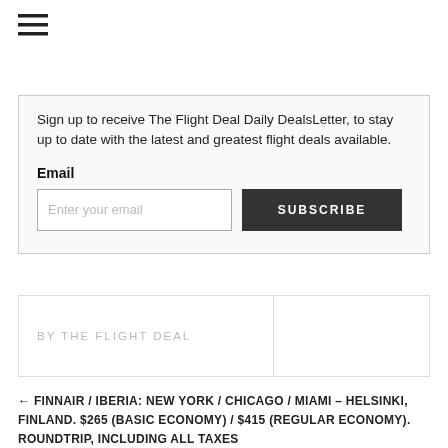[Figure (other): Hamburger menu icon (three horizontal lines)]
Sign up to receive The Flight Deal Daily DealsLetter, to stay up to date with the latest and greatest flight deals available.
Email
BY THE FLIGHT DEAL
← FINNAIR / IBERIA: NEW YORK / CHICAGO / MIAMI – HELSINKI, FINLAND. $265 (BASIC ECONOMY) / $415 (REGULAR ECONOMY). ROUNDTRIP, INCLUDING ALL TAXES